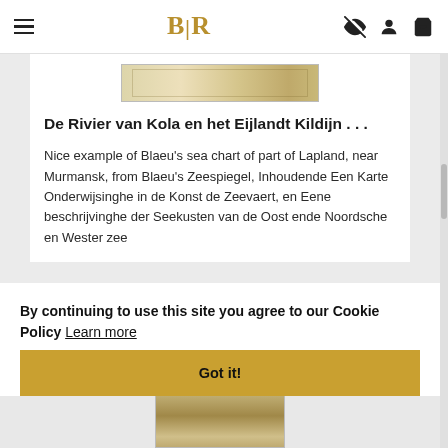BLR
[Figure (photo): Thumbnail of an old sea chart map strip]
De Rivier van Kola en het Eijlandt Kildijn . . .
Nice example of Blaeu's sea chart of part of Lapland, near Murmansk, from Blaeu's Zeespiegel, Inhoudende Een Karte Onderwijsinghe in de Konst de Zeevaert, en Eene beschrijvinghe der Seekusten van de Oost ende Noordsche en Wester zee
By continuing to use this site you agree to our Cookie Policy  Learn more
Got it!